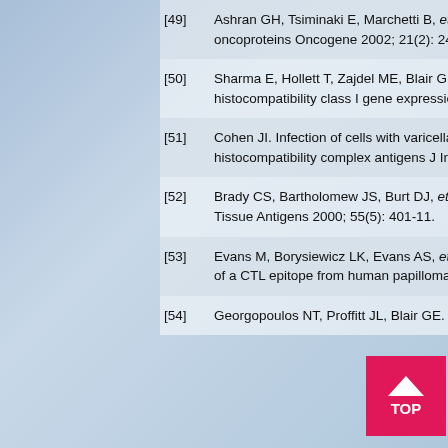[49] Ashran GH, Tsiminaki E, Marchetti B, et al. Down-regulation of MHC class I by bovine papillomavirus E5 oncoproteins Oncogene 2002; 21(2): 248-59.
[50] Sharma E, Hollett T, Zajdel ME, Blair GE. The role of adenovirus oncogenes in down-regulation of major histocompatibility class I gene expression Biochem Soc Trans 1991; 19(2): 84S.
[51] Cohen JI. Infection of cells with varicella-zoster virus down-regulates surface expression of class I major histocompatibility complex antigens J Infect Dis 1998; 177(5): 1390-3.
[52] Brady CS, Bartholomew JS, Burt DJ, et al. Multiple mechanisms underlie HLA dysregulation in cervical cancer Tissue Antigens 2000; 55(5): 401-11.
[53] Evans M, Borysiewicz LK, Evans AS, et al. Antigen processing defects in cervical carcinomas limit the presentation of a CTL epitope from human papillomavirus 16 E6 J Immunol 2001; 167(9): 5420-8.
[54] Georgopoulos NT, Proffitt JL, Blair GE.